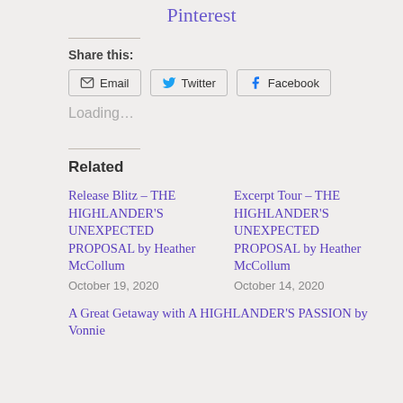Pinterest
Share this:
Email  Twitter  Facebook
Loading...
Related
Release Blitz – THE HIGHLANDER'S UNEXPECTED PROPOSAL by Heather McCollum
October 19, 2020
Excerpt Tour – THE HIGHLANDER'S UNEXPECTED PROPOSAL by Heather McCollum
October 14, 2020
A Great Getaway with A HIGHLANDER'S PASSION by Vonnie...